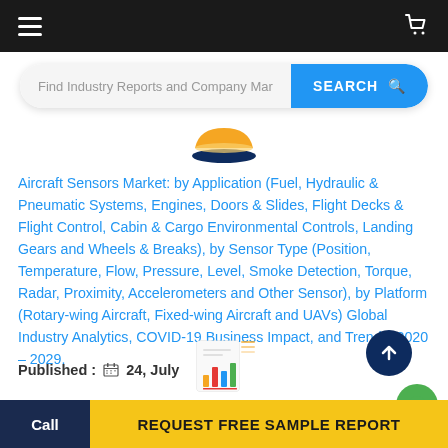Navigation bar with hamburger menu and cart icon
Find Industry Reports and Company Marke
[Figure (logo): Orange and navy bowl/hat shaped logo icon]
Aircraft Sensors Market: by Application (Fuel, Hydraulic & Pneumatic Systems, Engines, Doors & Slides, Flight Decks & Flight Control, Cabin & Cargo Environmental Controls, Landing Gears and Wheels & Breaks), by Sensor Type (Position, Temperature, Flow, Pressure, Level, Smoke Detection, Torque, Radar, Proximity, Accelerometers and Other Sensor), by Platform (Rotary-wing Aircraft, Fixed-wing Aircraft and UAVs) Global Industry Analytics, COVID-19 Business Impact, and Trends, 2020 – 2029.
Published : 24, July
[Figure (illustration): Colorful bar chart report illustration icon]
Call | REQUEST FREE SAMPLE REPORT